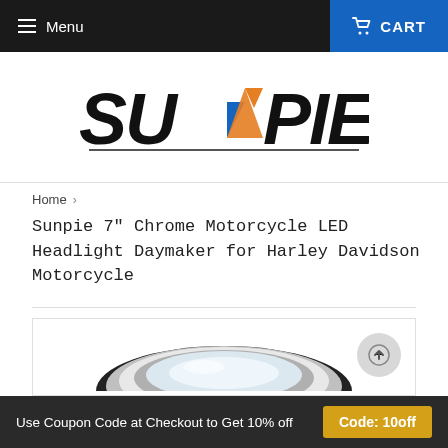Menu | CART
[Figure (logo): SUNPIE logo in bold italic text with blue and orange triangle accent in center]
Home > Sunpie 7" Chrome Motorcycle LED Headlight Daymaker for Harley Davidson Motorcycle
[Figure (photo): Partial view of a circular chrome motorcycle LED headlight with concentric rings]
Use Coupon Code at Checkout to Get 10% off | Code: 10off